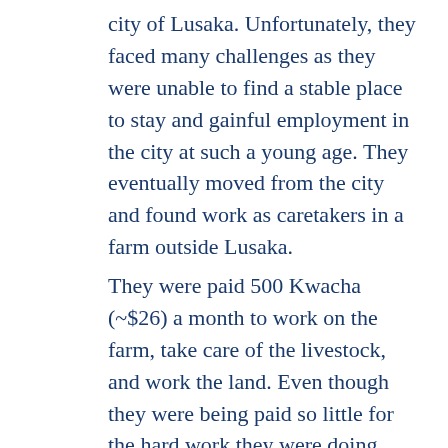city of Lusaka. Unfortunately, they faced many challenges as they were unable to find a stable place to stay and gainful employment in the city at such a young age. They eventually moved from the city and found work as caretakers in a farm outside Lusaka.
They were paid 500 Kwacha (~$26) a month to work on the farm, take care of the livestock, and work the land. Even though they were being paid so little for the hard work they were doing, these brothers continued to pursue a better future for themselves. They are both enrolled in